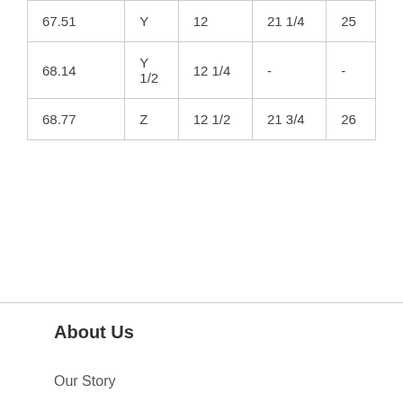| 67.51 | Y | 12 | 21 1/4 | 25 |
| 68.14 | Y
1/2 | 12 1/4 | - | - |
| 68.77 | Z | 12 1/2 | 21 3/4 | 26 |
About Us
Our Story